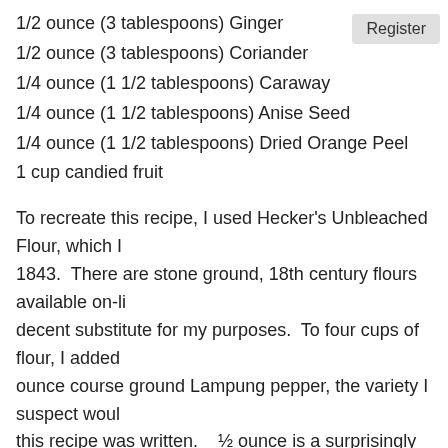1/2 ounce (3 tablespoons) Ginger
1/2 ounce (3 tablespoons) Coriander
1/4 ounce (1 1/2 tablespoons) Caraway
1/4 ounce (1 1/2 tablespoons) Anise Seed
1/4 ounce (1 1/2 tablespoons) Dried Orange Peel
1 cup candied fruit
To recreate this recipe, I used Hecker's Unbleached Flour, which I 1843.  There are stone ground, 18th century flours available on-li decent substitute for my purposes.  To four cups of flour, I added ounce course ground Lampung pepper, the variety I suspect woul this recipe was written.   ½ ounce is a surprisingly large amount tablespoons.  Ginger and coriander went in next, followed by cara whole caraway seeds to add texture.  I was unable to find anise s similarly licorice-tasting fennel seeds, which I pounded with the d makeshift mortar and pestle: a muddler and a measuring cup.
After the dry ingredients, I added the molasses, and stirred the bo